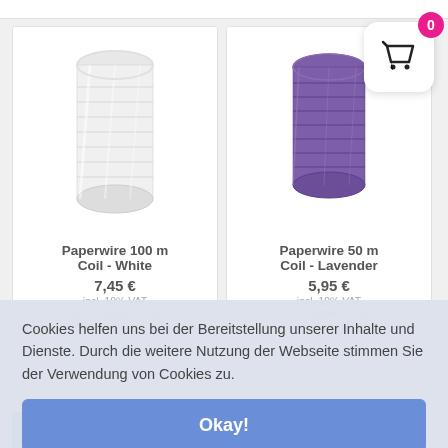[Figure (photo): White paperwire spool product image on white background]
[Figure (photo): Purple/lavender paperwire spool product image on white background]
Paperwire 100 m Coil - White
7,45 €
incl. 19% VAT
plus shipping costs
Paperwire 50 m Coil - Lavender
5,95 €
incl. 19% VAT
plus shipping costs
Cookies helfen uns bei der Bereitstellung unserer Inhalte und Dienste. Durch die weitere Nutzung der Webseite stimmen Sie der Verwendung von Cookies zu.
Okay!